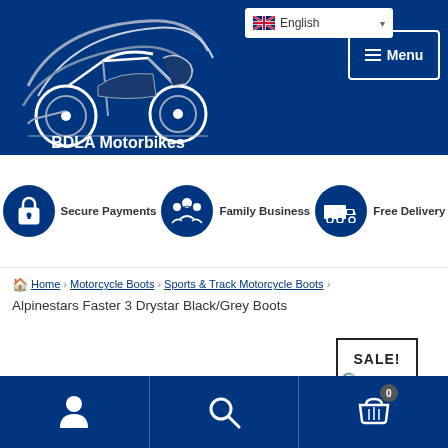[Figure (logo): BDLA Motorbikes logo — white motorcycle silhouette with swoosh lines on dark blue background, text 'BDLA Motorbikes' below]
English | Menu
[Figure (infographic): Trust bar with three icons and labels: lock icon 'Secure Payments', people icon 'Family Business', delivery truck icon 'Free Delivery']
Home > Motorcycle Boots > Sports & Track Motorcycle Boots > Alpinestars Faster 3 Drystar Black/Grey Boots
[Figure (other): SALE! badge and magnifier search icon over product image area showing partial view of black motorcycle boots]
User account icon | Search icon | Shopping cart icon with badge 0